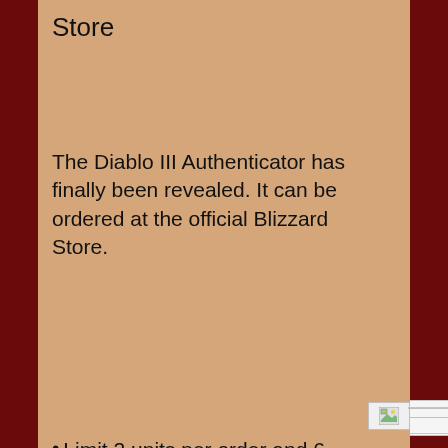Store
The Diablo III Authenticator has finally been revealed. It can be ordered at the official Blizzard Store.
[Figure (photo): Broken image placeholder showing a small landscape icon with a dashed border outline]
Limit 2 units per order and 6 units per month. Battle.net